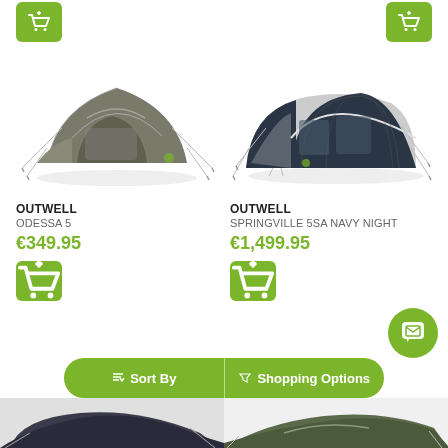[Figure (screenshot): Add to cart button (green) top left - partially visible]
[Figure (screenshot): Add to cart button (green) top right - partially visible]
[Figure (photo): Outwell Odessa 5 tent - dome style, olive/grey color]
OUTWELL
ODESSA 5
€349.95
[Figure (screenshot): Add to cart button (green) for Odessa 5]
[Figure (photo): Outwell Springville 5SA Navy Night tent - tunnel style, dark navy color]
OUTWELL
SPRINGVILLE 5SA NAVY NIGHT
€1,499.95
[Figure (screenshot): Add to cart button (green) for Springville 5SA]
[Figure (screenshot): Chat/message bubble icon (green circle)]
Sort By
Shopping Options
[Figure (photo): Partial bottom tent image left - dark colored tent]
[Figure (photo): Partial bottom tent image right - green/grey tent]